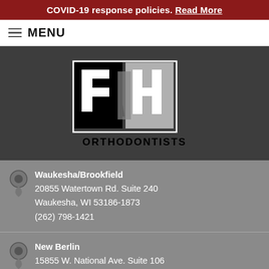COVID-19 response policies. Read More
≡ MENU
[Figure (logo): RH Orthodontists logo — block letters R, H in black and gray with ORTHODONTISTS text below]
Waukesha/Brookfield
20855 Watertown Rd. Suite 240
Waukesha, WI 53186-1873
(262) 798-1421
New Berlin
15855 W. National Ave. Suite 106
New Berlin, WI 53151
(262) 784-4050